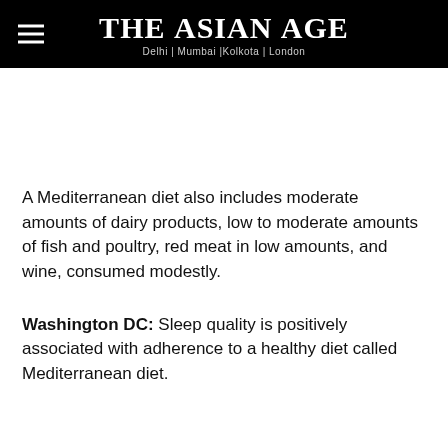THE ASIAN AGE — Delhi | Mumbai |Kolkota | London
A Mediterranean diet also includes moderate amounts of dairy products, low to moderate amounts of fish and poultry, red meat in low amounts, and wine, consumed modestly.
Washington DC: Sleep quality is positively associated with adherence to a healthy diet called Mediterranean diet.